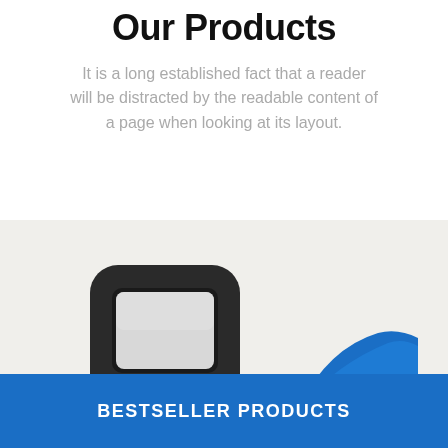Our Products
It is a long established fact that a reader will be distracted by the readable content of a page when looking at its layout.
[Figure (photo): Product photo showing a black key fob/remote device on the left and a blue device on the right, against a light beige/grey background. Below is a blue banner with 'BESTSELLER PRODUCTS' text in white.]
BESTSELLER PRODUCTS